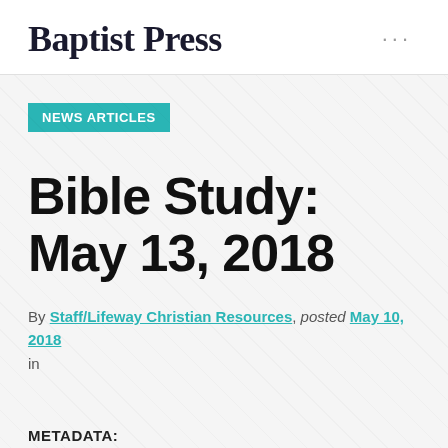Baptist Press
NEWS ARTICLES
Bible Study: May 13, 2018
By Staff/Lifeway Christian Resources, posted May 10, 2018 in
METADATA: